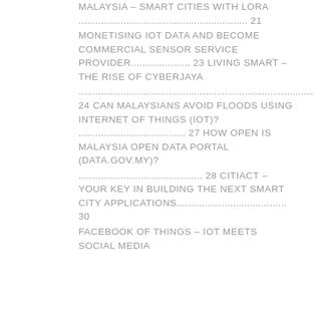MALAYSIA – SMART CITIES WITH LORA ............................................................. 21
MONETISING IOT DATA AND BECOME COMMERCIAL SENSOR SERVICE PROVIDER...................... 23 LIVING SMART – THE RISE OF CYBERJAYA
............................................................................................... 24 CAN MALAYSIANS AVOID FLOODS USING INTERNET OF THINGS (IOT)? ....................................... 27 HOW OPEN IS MALAYSIA OPEN DATA PORTAL (DATA.GOV.MY)?
............................................... 28 CITIACT – YOUR KEY IN BUILDING THE NEXT SMART CITY APPLICATIONS........................................ 30
FACEBOOK OF THINGS – IOT MEETS SOCIAL MEDIA